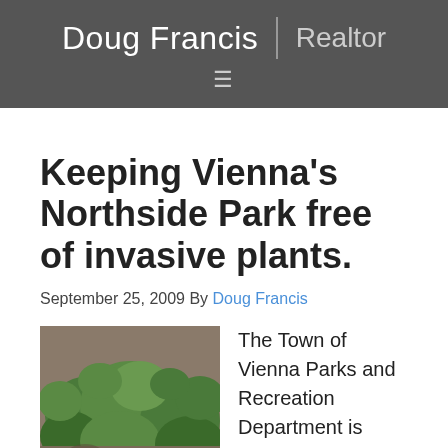Doug Francis | Realtor
Keeping Vienna’s Northside Park free of invasive plants.
September 25, 2009 By Doug Francis
[Figure (photo): Photo of invasive green plants growing in a park setting with soil and mulch visible]
The Town of Vienna Parks and Recreation Department is seeking volunteers on Saturday, September 26th to help identify and remove